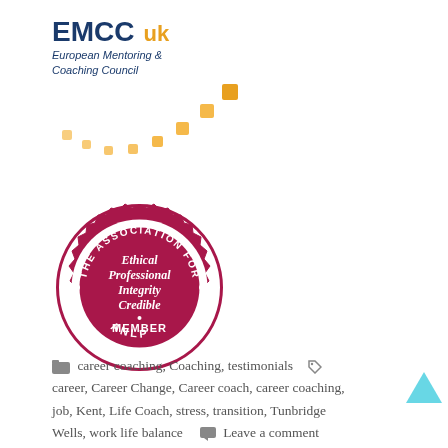[Figure (logo): EMCC UK - European Mentoring & Coaching Council logo with orange dots decoration]
[Figure (logo): ANLP - The Association for NLP member badge/seal with text: Ethical Professional Integrity Credible MEMBER]
career coaching, Coaching, testimonials   career, Career Change, Career coach, career coaching, job, Kent, Life Coach, stress, transition, Tunbridge Wells, work life balance    Leave a comment